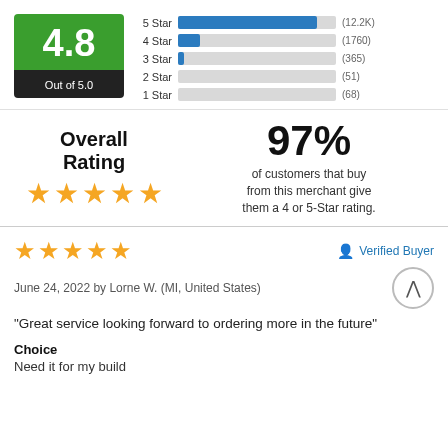[Figure (infographic): Rating box showing 4.8 out of 5.0 in green and black box]
[Figure (bar-chart): Star rating distribution]
Overall Rating
97% of customers that buy from this merchant give them a 4 or 5-Star rating.
★★★★★
★★★★★ Verified Buyer
June 24, 2022 by Lorne W. (MI, United States)
"Great service looking forward to ordering more in the future"
Choice
Need it for my build